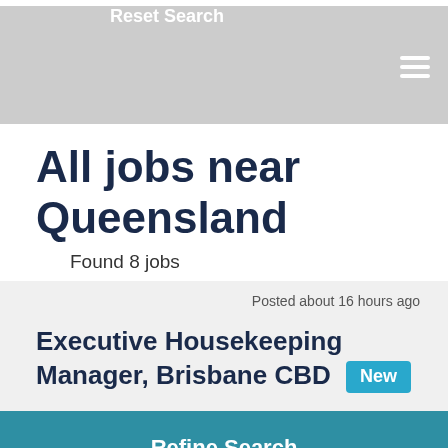Reset Search
All jobs near Queensland
Found 8 jobs
Posted about 16 hours ago
Executive Housekeeping Manager, Brisbane CBD New
Refine Search
at the heartbeat of the hotel? ahs hospitality is